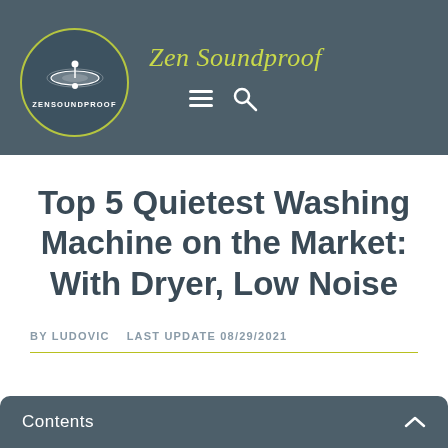Zen Soundproof — ZENSOUNDPROOF
Top 5 Quietest Washing Machine on the Market: With Dryer, Low Noise
BY LUDOVIC   LAST UPDATE 08/29/2021
Contents